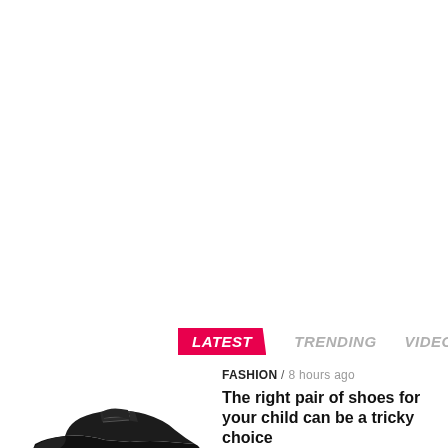LATEST   TRENDING   VIDEOS
FASHION / 8 hours ago
The right pair of shoes for your child can be a tricky choice
[Figure (photo): Black children's shoe photograph at the bottom left]